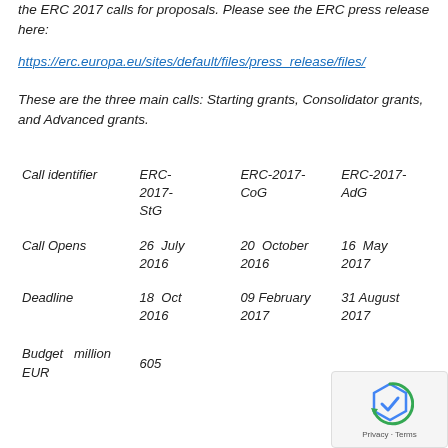the ERC 2017 calls for proposals. Please see the ERC press release here:
https://erc.europa.eu/sites/default/files/press_release/files/
These are the three main calls: Starting grants, Consolidator grants, and Advanced grants.
|  | ERC-2017-StG | ERC-2017-CoG | ERC-2017-AdG |
| --- | --- | --- | --- |
| Call identifier | ERC-2017-StG | ERC-2017-CoG | ERC-2017-AdG |
| Call Opens | 26 July 2016 | 20 October 2016 | 16 May 2017 |
| Deadline | 18 Oct 2016 | 09 February 2017 | 31 August 2017 |
| Budget million EUR | 605 |  |  |